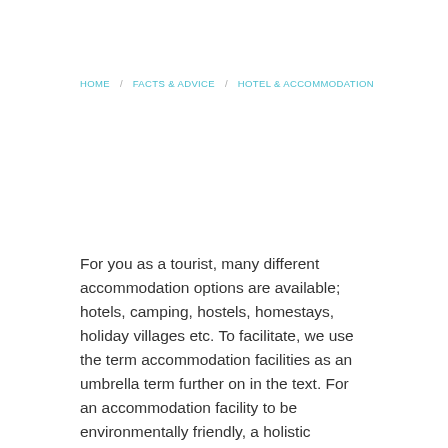HOME | FACTS & ADVICE | HOTEL & ACCOMMODATION
For you as a tourist, many different accommodation options are available; hotels, camping, hostels, homestays, holiday villages etc. To facilitate, we use the term accommodation facilities as an umbrella term further on in the text. For an accommodation facility to be environmentally friendly, a holistic approach is required. Below is a list of areas where accommodation facilities can implement measures for environmental improvement.